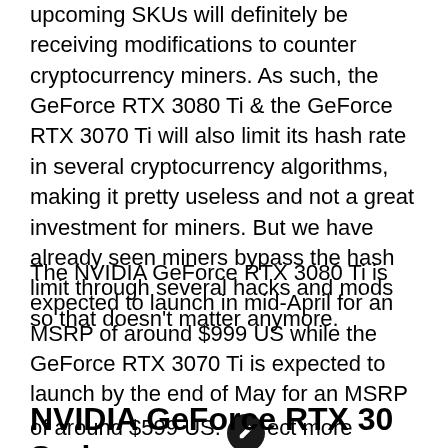upcoming SKUs will definitely be receiving modifications to counter cryptocurrency miners. As such, the GeForce RTX 3080 Ti & the GeForce RTX 3070 Ti will also limit its hash rate in several cryptocurrency algorithms, making it pretty useless and not a great investment for miners. But we have already seen miners bypass the hash limit through several hacks and mods so that doesn't matter anymore.
The NVIDIA GeForce RTX 3080 Ti is expected to launch in mid-April for an MSRP of around $999 US while the GeForce RTX 3070 Ti is expected to launch by the end of May for an MSRP of around $599 US. Expect more information to come on these cards in the coming weeks.
NVIDIA GeForce RTX 30 Series